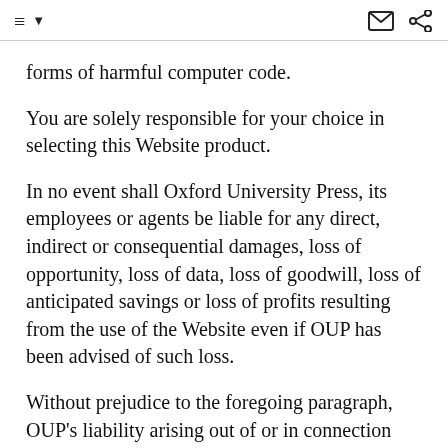menu icon, mail icon, share icon
forms of harmful computer code.
You are solely responsible for your choice in selecting this Website product.
In no event shall Oxford University Press, its employees or agents be liable for any direct, indirect or consequential damages, loss of opportunity, loss of data, loss of goodwill, loss of anticipated savings or loss of profits resulting from the use of the Website even if OUP has been advised of such loss.
Without prejudice to the foregoing paragraph, OUP's liability arising out of or in connection with your use of the Website and/or this legal notice whether in contract, tort, misrepresentation, under statute or otherwise will not exceed the price you